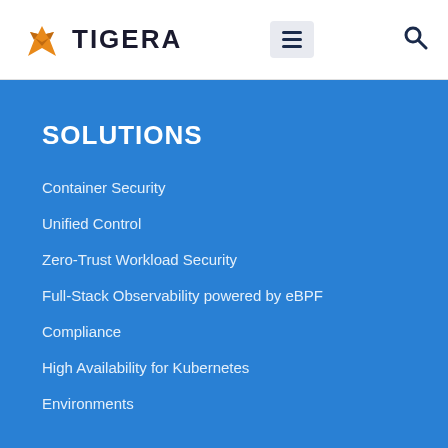[Figure (logo): Tigera logo with orange tiger icon and bold black TIGERA text]
SOLUTIONS
Container Security
Unified Control
Zero-Trust Workload Security
Full-Stack Observability powered by eBPF
Compliance
High Availability for Kubernetes
Environments